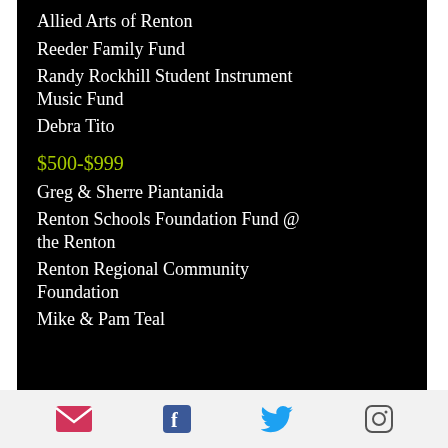Allied Arts of Renton
Reeder Family Fund
Randy Rockhill Student Instrument Music Fund
Debra Tito
$500-$999
Greg & Sherre Piantanida
Renton Schools Foundation Fund @ the Renton
Renton Regional Community Foundation
Mike & Pam Teal
Email | Facebook | Twitter | Instagram